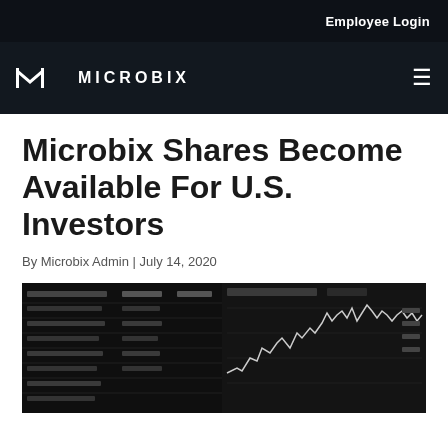Employee Login
[Figure (logo): Microbix logo with stylized M icon and MICROBIX text in white on dark background, with hamburger menu icon on right]
Microbix Shares Become Available For U.S. Investors
By Microbix Admin | July 14, 2020
[Figure (photo): Black and white photo of a stock market trading screen showing financial charts with a line graph displaying market price movements]